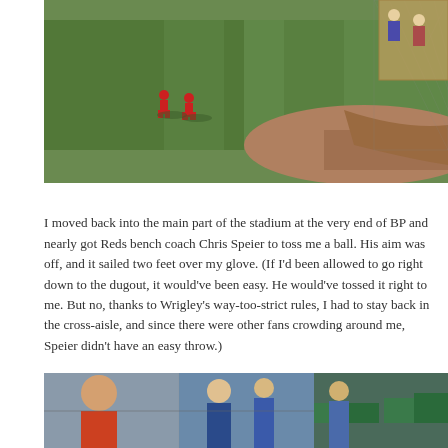[Figure (photo): A baseball field during batting practice showing two players in red uniforms crouching on the grass outfield, with a warning track and netting/stands visible in the background right.]
I moved back into the main part of the stadium at the very end of BP and nearly got Reds bench coach Chris Speier to toss me a ball. His aim was off, and it sailed two feet over my glove. (If I'd been allowed to go right down to the dugout, it would've been easy. He would've tossed it right to me. But no, thanks to Wrigley's way-too-strict rules, I had to stay back in the cross-aisle, and since there were other fans crowding around me, Speier didn't have an easy throw.)
I had about 40 minutes 'til the game was going to begin so I decided to head back to the bleachers and take a bunch of photos. I started by going down this staircase in the grandstand:
[Figure (photo): A photo of a grandstand staircase at a baseball stadium with fans in blue shirts visible and green stadium seats.]